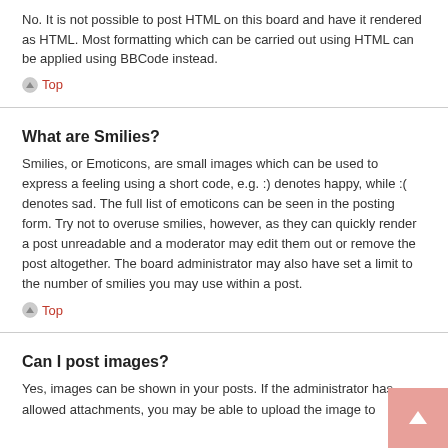No. It is not possible to post HTML on this board and have it rendered as HTML. Most formatting which can be carried out using HTML can be applied using BBCode instead.
Top
What are Smilies?
Smilies, or Emoticons, are small images which can be used to express a feeling using a short code, e.g. :) denotes happy, while :( denotes sad. The full list of emoticons can be seen in the posting form. Try not to overuse smilies, however, as they can quickly render a post unreadable and a moderator may edit them out or remove the post altogether. The board administrator may also have set a limit to the number of smilies you may use within a post.
Top
Can I post images?
Yes, images can be shown in your posts. If the administrator has allowed attachments, you may be able to upload the image to